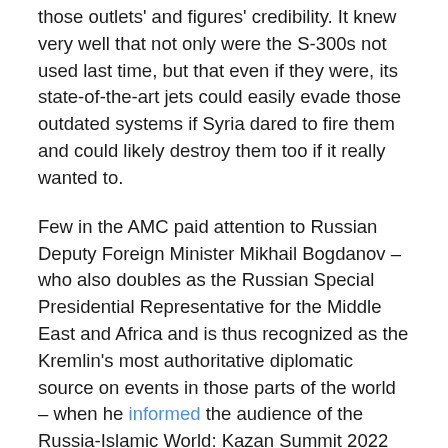those outlets' and figures' credibility. It knew very well that not only were the S-300s not used last time, but that even if they were, its state-of-the-art jets could easily evade those outdated systems if Syria dared to fire them and could likely destroy them too if it really wanted to.
Few in the AMC paid attention to Russian Deputy Foreign Minister Mikhail Bogdanov – who also doubles as the Russian Special Presidential Representative for the Middle East and Africa and is thus recognized as the Kremlin's most authoritative diplomatic source on events in those parts of the world – when he informed the audience of the Russia-Islamic World: Kazan Summit 2022 on Thursday that his country's deconfliction mechanism with Israel was still working at all levels.
This high-level diplomat meant to inform his prestigious